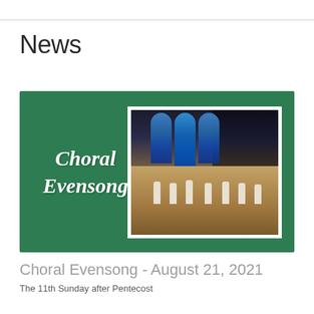News
[Figure (photo): Green banner card for Choral Evensong featuring italic white text 'Choral Evensong' on the left and a photo of a church interior with stained glass windows and robed clergy at the altar on the right]
Choral Evensong - August 21, 2021
The 11th Sunday after Pentecost